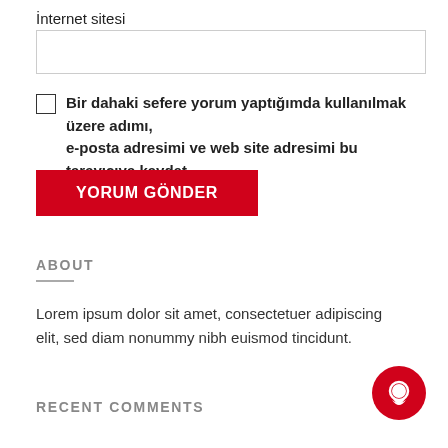İnternet sitesi
[Figure (other): Text input field for internet sitesi (website URL)]
Bir dahaki sefere yorum yaptığımda kullanılmak üzere adımı, e-posta adresimi ve web site adresimi bu tarayıcıya kaydet.
YORUM GÖNDER
ABOUT
Lorem ipsum dolor sit amet, consectetuer adipiscing elit, sed diam nonummy nibh euismod tincidunt.
RECENT COMMENTS
[Figure (other): Red circular chat/comment bubble icon button in bottom right]